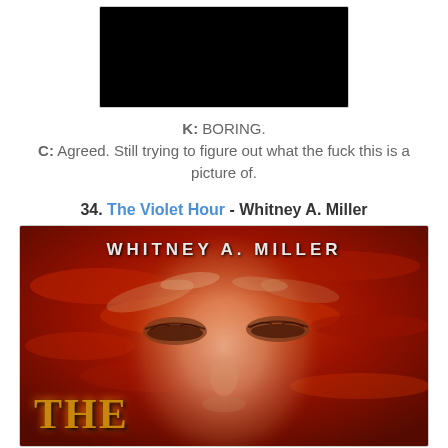[Figure (photo): Black rectangle image, appears to be a dark/blank book cover or image thumbnail]
K: BORING.
C: Agreed. Still trying to figure out what the fuck this is a picture of.
34. The Violet Hour - Whitney A. Miller
[Figure (photo): Book cover for 'The Violet Hour' by Whitney A. Miller. Red/orange fiery sky background with a large ghostly close-up face (closed eyes). Text 'WHITNEY A. MILLER' at top in white letters. Large gold/metallic letters 'THE' visible at bottom left.]